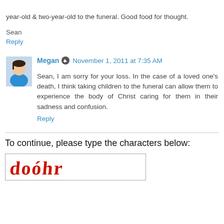year-old & two-year-old to the funeral. Good food for thought.
Sean
Reply
Megan  November 1, 2011 at 7:35 AM
Sean, I am sorry for your loss. In the case of a loved one's death, I think taking children to the funeral can allow them to experience the body of Christ caring for them in their sadness and confusion.
Reply
To continue, please type the characters below:
[Figure (other): CAPTCHA image with stylized red text characters]